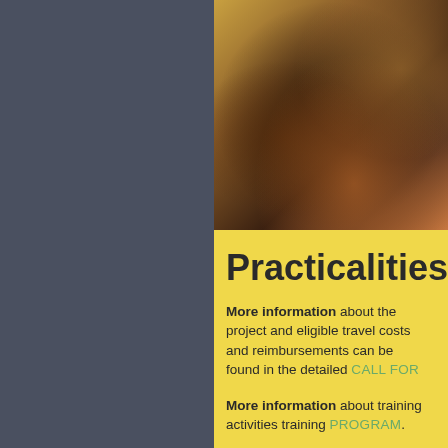[Figure (photo): Blurry photo of audience/participants in a hall with warm lighting, silhouetted figures visible]
Practicalities
More information about the project and eligible travel costs and reimbursements can be found in the detailed CALL FOR
More information about training activities training PROGRAM.
If you are interested in participating, the